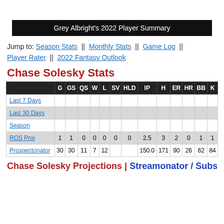Grey Albright's 2022 Player Summary
Jump to: Season Stats || Monthly Stats || Game Log || Player Rater || 2022 Fantasy Outlook
Chase Solesky Stats
|  | G | GS | QS | W | L | SV | HLD | IP | H | ER | HR | BB | K |
| --- | --- | --- | --- | --- | --- | --- | --- | --- | --- | --- | --- | --- | --- |
| Last 7 Days |  |  |  |  |  |  |  |  |  |  |  |  |  |
| Last 30 Days |  |  |  |  |  |  |  |  |  |  |  |  |  |
| Season |  |  |  |  |  |  |  |  |  |  |  |  |  |
| ROS Proj | 1 | 1 | 0 | 0 | 0 | 0 | 0 | 2.5 | 3 | 2 | 0 | 1 | 1 |
| Prospectonator | 30 | 30 | 11 | 7 | 12 |  |  | 150.0 | 171 | 90 | 26 | 62 | 84 |
Chase Solesky Projections | Streamonator / Subscribe